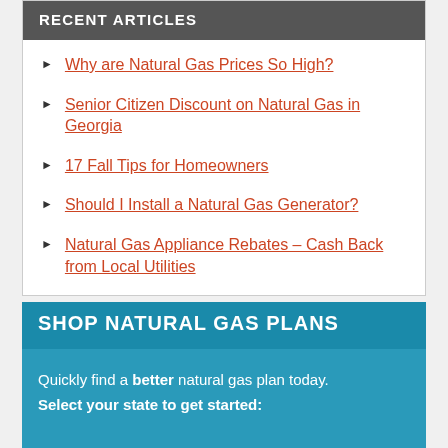RECENT ARTICLES
Why are Natural Gas Prices So High?
Senior Citizen Discount on Natural Gas in Georgia
17 Fall Tips for Homeowners
Should I Install a Natural Gas Generator?
Natural Gas Appliance Rebates – Cash Back from Local Utilities
SHOP NATURAL GAS PLANS
Quickly find a better natural gas plan today. Select your state to get started: